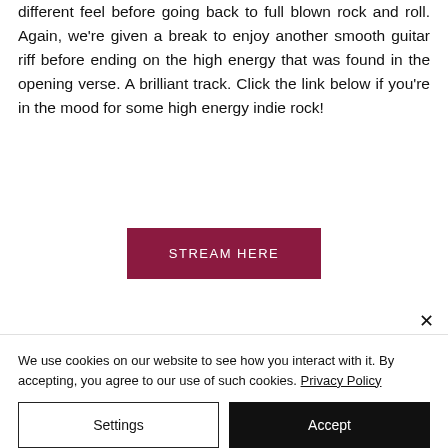different feel before going back to full blown rock and roll. Again, we're given a break to enjoy another smooth guitar riff before ending on the high energy that was found in the opening verse. A brilliant track. Click the link below if you're in the mood for some high energy indie rock!
STREAM HERE
We use cookies on our website to see how you interact with it. By accepting, you agree to our use of such cookies. Privacy Policy
Settings
Accept